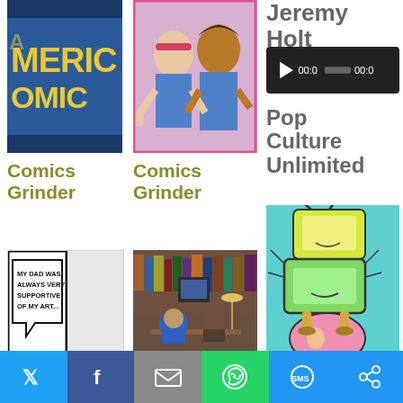[Figure (screenshot): Comics Grinder thumbnail - American Comics logo with yellow letters on blue/dark background]
[Figure (screenshot): Comics Grinder thumbnail - two comic characters, one with blue headband]
Comics Grinder
Comics Grinder
Jeremy Holt
[Figure (screenshot): Audio player widget with play button, time 00:0 shown twice]
Pop Culture Unlimited
[Figure (screenshot): Comics Grinder thumbnail - comic panel text: MY DAD WAS ALWAYS VERY SUPPORTIVE OF MY ART...]
[Figure (screenshot): Comics Grinder thumbnail - photo of people in a library/bookstore]
[Figure (illustration): Pop Culture Unlimited - illustrated stacked cartoon TVs/robots on cyan background]
Comics Grinder
Comics Grinder
[Figure (screenshot): Social share bar with Twitter, Facebook, Email, WhatsApp, SMS, and other sharing buttons]